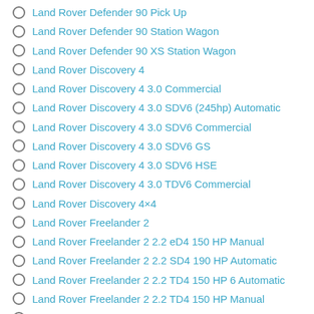Land Rover Defender 90 Pick Up
Land Rover Defender 90 Station Wagon
Land Rover Defender 90 XS Station Wagon
Land Rover Discovery 4
Land Rover Discovery 4 3.0 Commercial
Land Rover Discovery 4 3.0 SDV6 (245hp) Automatic
Land Rover Discovery 4 3.0 SDV6 Commercial
Land Rover Discovery 4 3.0 SDV6 GS
Land Rover Discovery 4 3.0 SDV6 HSE
Land Rover Discovery 4 3.0 TDV6 Commercial
Land Rover Discovery 4×4
Land Rover Freelander 2
Land Rover Freelander 2 2.2 eD4 150 HP Manual
Land Rover Freelander 2 2.2 SD4 190 HP Automatic
Land Rover Freelander 2 2.2 TD4 150 HP 6 Automatic
Land Rover Freelander 2 2.2 TD4 150 HP Manual
Land Rover Freelander 2 eD4 GS 6 Speed Manual
Land Rover Freelander 2 eD4 HSE 6 Speed Manual